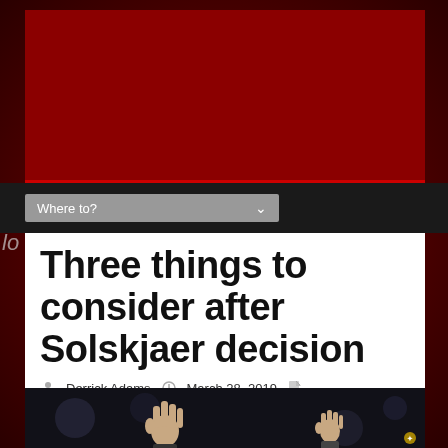[Figure (screenshot): Website screenshot showing a Manchester United fan blog. Top section has a dark red banner/header area. Below is a dark navigation bar with a 'Where to?' dropdown. Main content area is white with a large article headline. Below the headline are author and date metadata. At the bottom is a photo of hands raised against a dark stadium background.]
Three things to consider after Solskjaer decision
Derrick Adams   March 28, 2019